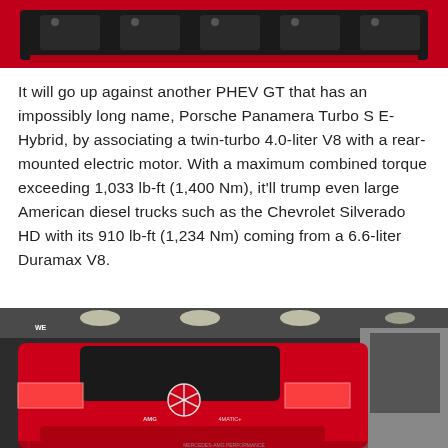[Figure (photo): Top portion of a red car engine bay with dark mechanical components visible, cropped at the bottom edge.]
It will go up against another PHEV GT that has an impossibly long name, Porsche Panamera Turbo S E-Hybrid, by associating a twin-turbo 4.0-liter V8 with a rear-mounted electric motor. With a maximum combined torque exceeding 1,033 lb-ft (1,400 Nm), it'll trump even large American diesel trucks such as the Chevrolet Silverado HD with its 910 lb-ft (1,234 Nm) coming from a 6.6-liter Duramax V8.
[Figure (photo): Rear view of a red Mercedes-AMG GT car at an auto show, showing the AMG badge, four-star logo, and tail lights. People and exhibition booths visible in the background.]